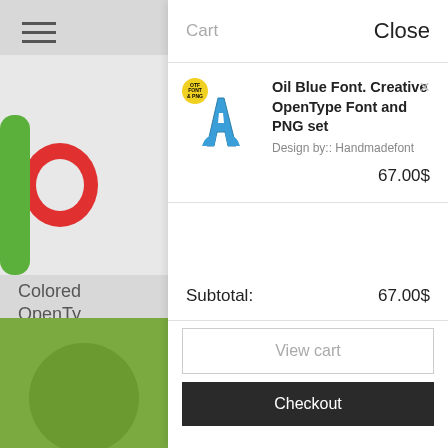[Figure (screenshot): Website cart sidebar panel showing a shopping cart with one item: Oil Blue Font, and checkout options]
Cart
Close
Oil Blue Font. Creative OpenType Font and PNG set
Design by:: Handmadefont
67.00$
Subtotal:
67.00$
View cart
Checkout